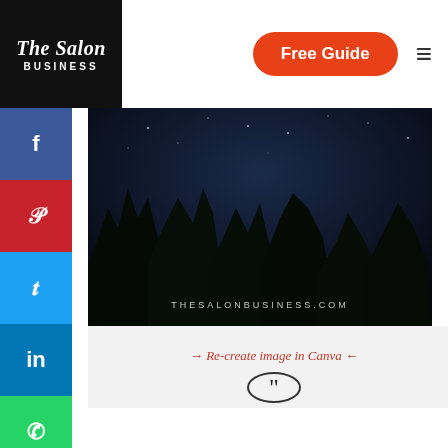The Salon Business | Free Guide
[Figure (photo): Night sky with silhouetted trees and watermark THESALONBUSINESS.COM]
→ Re-create image in Canva ←
[Figure (illustration): Circle with closing quotation marks icon]
If beauty were time, you'd be eternity
You are beautiful quotes